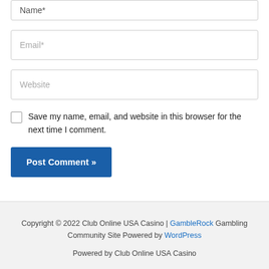Name*
Email*
Website
Save my name, email, and website in this browser for the next time I comment.
Post Comment »
Copyright © 2022 Club Online USA Casino | GambleRock Gambling Community Site Powered by WordPress
Powered by Club Online USA Casino